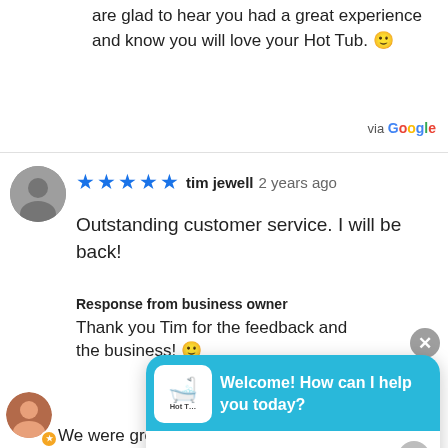are glad to hear you had a great experience and know you will love your Hot Tub. 🙂
via Google
★★★★★ tim jewell 2 years ago
Outstanding customer service. I will be back!
Response from business owner
Thank you Tim for the feedback and the business! 🙂
[Figure (screenshot): Chat widget overlay with hot tub logo, greeting 'Welcome! How can I help you today?' and message input field]
We were greeted and assisted right